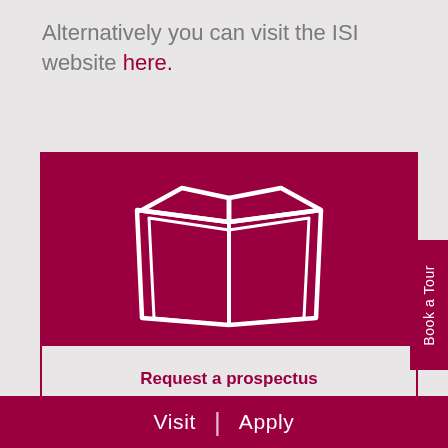Alternatively you can visit the ISI website here.
[Figure (illustration): Open book icon in white outline on a dark maroon/crimson background, representing a prospectus]
Request a prospectus
Book a Tour
Visit | Apply